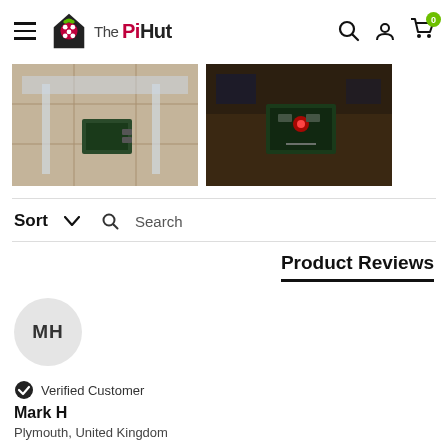The PiHut — navigation bar with hamburger menu, logo, search icon, account icon, cart (0)
[Figure (photo): Two thumbnail photos side by side: left shows a Raspberry Pi board on a tiled floor with glass table; right shows electronics/Raspberry Pi setup on a dark wooden desk]
Sort ∨  🔍 Search
Product Reviews
[Figure (other): User avatar circle with initials MH on grey background]
✔ Verified Customer
Mark H
Plymouth, United Kingdom